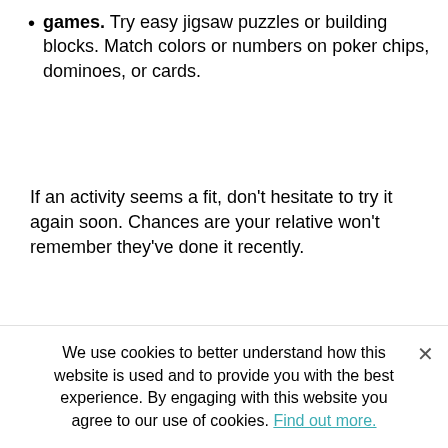games. Try easy jigsaw puzzles or building blocks. Match colors or numbers on poker chips, dominoes, or cards.
If an activity seems a fit, don't hesitate to try it again soon. Chances are your relative won't remember they've done it recently.
Return to top
Please Note: ABC Care Management does not specifically endorse the activities of any organizations mentioned, but offers their information as a sample of the kinds of materials and services that are available.
We use cookies to better understand how this website is used and to provide you with the best experience. By engaging with this website you agree to our use of cookies. Find out more.